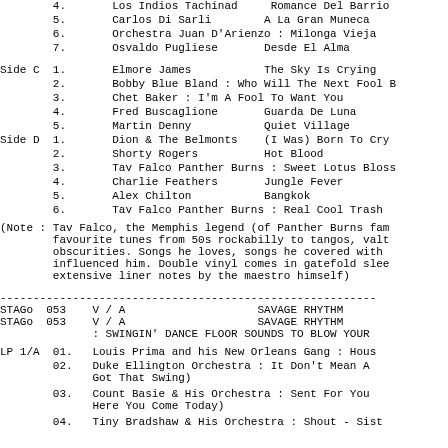4.  Los Indios Tachinad    Romance Del Barrio
5.  Carlos Di Sarli        A La Gran Muneca
6.  Orchestra Juan D'Arienzo : Milonga Vieja
7.  Osvaldo Pugliese       Desde El Alma
Side C 1.  Elmore James           The Sky Is Crying
2.  Bobby Blue Bland : Who Will The Next Fool B
3.  Chet Baker : I'm A Fool To Want You
4.  Fred Buscaglione       Guarda De Luna
5.  Martin Denny           Quiet Village
Side D 1.  Dion & The Belmonts   (I Was) Born To Cry
2.  Shorty Rogers          Hot Blood
3.  Tav Falco Panther Burns : Sweet Lotus Bloss
4.  Charlie Feathers       Jungle Fever
5.  Alex Chilton           Bangkok
6.  Tav Falco Panther Burns : Real Cool Trash
(Note : Tav Falco, the Memphis legend (of Panther Burns fam favourite tunes from 50s rockabilly to tangos, valt obscurities. Songs he loves, songs he covered with influenced him. Double vinyl comes in gatefold slee extensive liner notes by the maestro himself)
-----------------------------------------------------------
STAGo  053  V / A                    SAVAGE RHYTHM
STAGo  053  V / A                    SAVAGE RHYTHM
            : SWINGIN' DANCE FLOOR SOUNDS TO BLOW YOUR
LP 1/A 01.  Louis Prima and his New Orleans Gang : Hous
02.  Duke Ellington Orchestra : It Don't Mean A Got That Swing)
03.  Count Basie & His Orchestra : Sent For You Here You Come Today)
04.  Tiny Bradshaw & His Orchestra : Shout - Sist